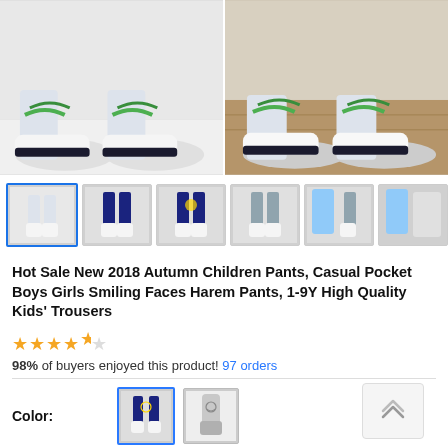[Figure (photo): Two product photos side by side showing children's pants with white sneakers and green laces. Left shows front-facing view, right shows another angle on wooden floor.]
[Figure (photo): Row of thumbnail product images showing various colors and styles of children's harem pants with smiley face design.]
Hot Sale New 2018 Autumn Children Pants, Casual Pocket Boys Girls Smiling Faces Harem Pants, 1-9Y High Quality Kids' Trousers
★★★★½
98% of buyers enjoyed this product! 97 orders
Color:
[Figure (photo): Color option 1: dark navy pants thumbnail]
[Figure (photo): Color option 2: light grey pants thumbnail]
Kid US Size: 2T  3T  4T  6  8